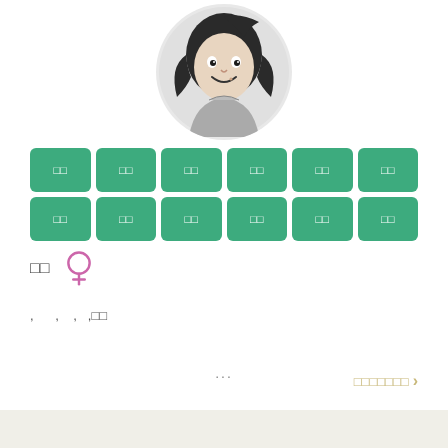[Figure (illustration): Cartoon avatar of a female character with dark wavy hair, smiling, wearing a gray shirt, displayed in a light gray circle]
□□ □□ □□ □□ □□ □□ □□ □□ □□ □□ □□ □□
□□ ♀
, , , ,□□
...
□□□□□□□ >